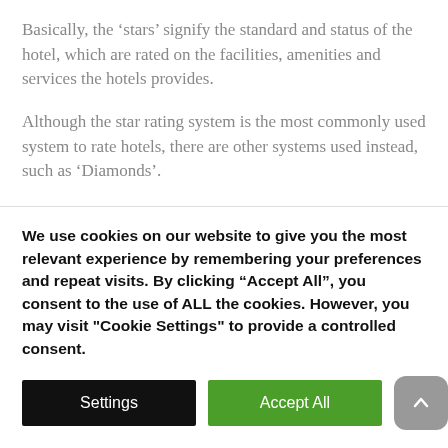Basically, the ‘stars’ signify the standard and status of the hotel, which are rated on the facilities, amenities and services the hotels provides.
Although the star rating system is the most commonly used system to rate hotels, there are other systems used instead, such as ‘Diamonds’.
There is actually no official universal system, which means that the ‘star’ rating may vary from country to country. This is due to local organisations, local governments and travel
We use cookies on our website to give you the most relevant experience by remembering your preferences and repeat visits. By clicking “Accept All”, you consent to the use of ALL the cookies. However, you may visit "Cookie Settings" to provide a controlled consent.